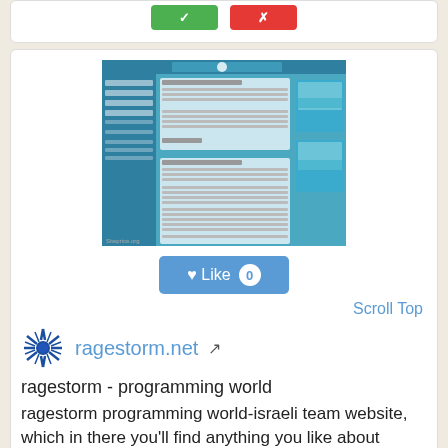[Figure (screenshot): Two buttons (green and red) at the top of a card]
[Figure (screenshot): Screenshot of ragestorm.net website showing blog posts on a blue background with siteprice.org watermark]
Like 0
Scroll Top
[Figure (logo): Ragestorm logo - spiky blue splatter icon]
ragestorm.net
ragestorm - programming world
ragestorm programming world-israeli team website, which in there you'll find anything you like about computer programming, code samples, code snippets